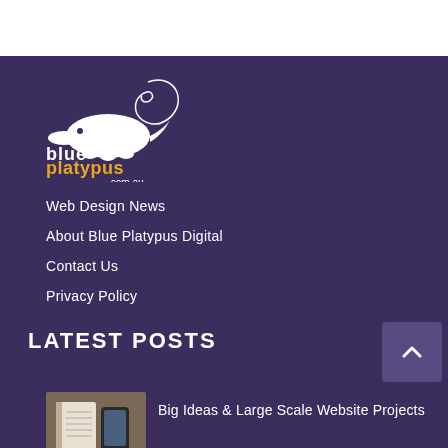[Figure (logo): Blue Platypus Digital logo — white platypus silhouette with 'blue platypus .com.au' text in white and gold/yellow]
Web Design News
About Blue Platypus Digital
Contact Us
Privacy Policy
LATEST POSTS
[Figure (photo): Thumbnail photo of a desk with notebook, phone, and papers]
Big Ideas & Large Scale Website Projects